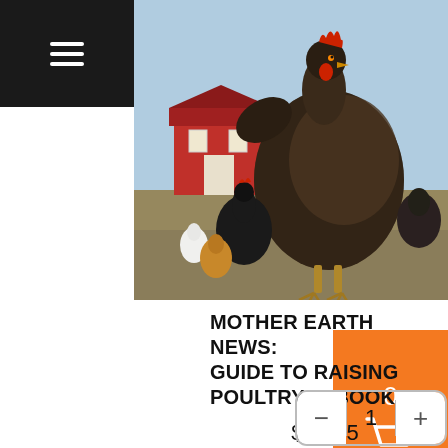[Figure (photo): Photo of chickens in a farm field with a red barn building in the background]
MOTHER EARTH NEWS: GUIDE TO RAISING POULTRY, E-BOOK
$14.95